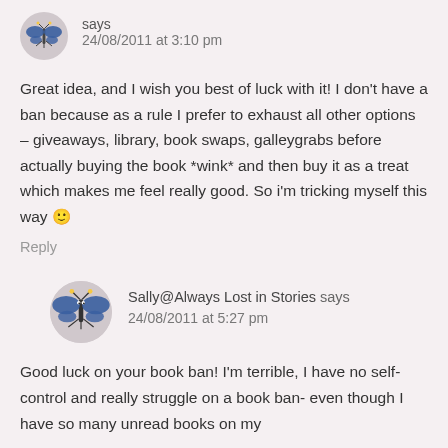says
24/08/2011 at 3:10 pm
Great idea, and I wish you best of luck with it! I don't have a ban because as a rule I prefer to exhaust all other options – giveaways, library, book swaps, galleygrabs before actually buying the book *wink* and then buy it as a treat which makes me feel really good. So i'm tricking myself this way 🙂
Reply
Sally@Always Lost in Stories says
24/08/2011 at 5:27 pm
Good luck on your book ban! I'm terrible, I have no self-control and really struggle on a book ban- even though I have so many unread books on my